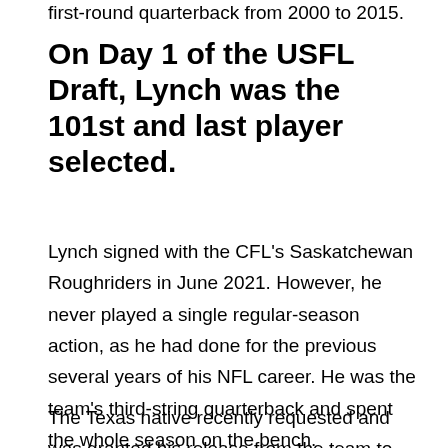first-round quarterback from 2000 to 2015.
On Day 1 of the USFL Draft, Lynch was the 101st and last player selected.
Lynch signed with the CFL's Saskatchewan Roughriders in June 2021. However, he never played a single regular-season action, as he had done for the previous several years of his NFL career. He was the team's third-string quarterback and spent the whole season on the bench.
The Texas native recently requested and was granted his release from the team to enter the